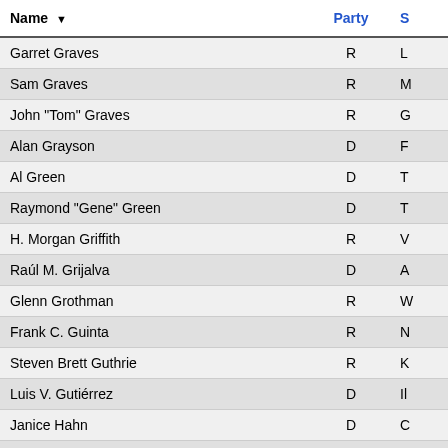| Name ▼ | Party | S |
| --- | --- | --- |
| Garret Graves | R | L |
| Sam Graves | R | M |
| John "Tom" Graves | R | G |
| Alan Grayson | D | F |
| Al Green | D | T |
| Raymond "Gene" Green | D | T |
| H. Morgan Griffith | R | V |
| Raúl M. Grijalva | D | A |
| Glenn Grothman | R | W |
| Frank C. Guinta | R | N |
| Steven Brett Guthrie | R | K |
| Luis V. Gutiérrez | D | Il |
| Janice Hahn | D | C |
| Richard L. Hanna | R | N |
| Cresent Hardy | R | N |
| Gregg Harper | R | M |
| Andy Harris | R | M |
| Vicky Hartzler | R | M |
| Alcee L. Hastings | D | F |
| Denny Heck | D | W |
| Joseph J. Heck | R | N |
| Jeb Hensarling | R | T |